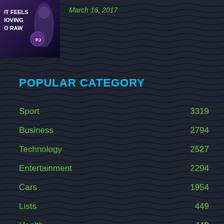[Figure (photo): Album or movie cover art thumbnail in top-left corner with dark overlay, showing text 'IT FEELS LOVING TO RAW' and an artist figure]
March 16, 2017
POPULAR CATEGORY
Sport  3319
Business  2794
Technology  2527
Entertainment  2294
Cars  1954
Lists  449
Health  448
From The Press  334
Home & Garden  328